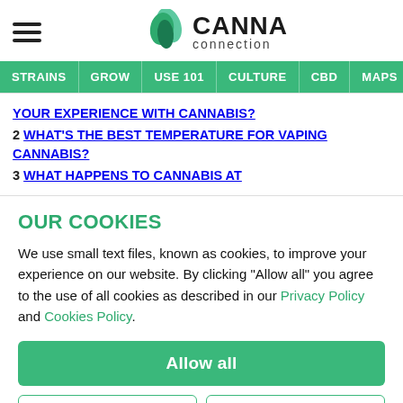CANNA connection
YOUR EXPERIENCE WITH CANNABIS?
2 WHAT'S THE BEST TEMPERATURE FOR VAPING CANNABIS?
3 WHAT HAPPENS TO CANNABIS AT
OUR COOKIES
We use small text files, known as cookies, to improve your experience on our website. By clicking "Allow all" you agree to the use of all cookies as described in our Privacy Policy and Cookies Policy.
Allow all
Reject all
Manage cookies